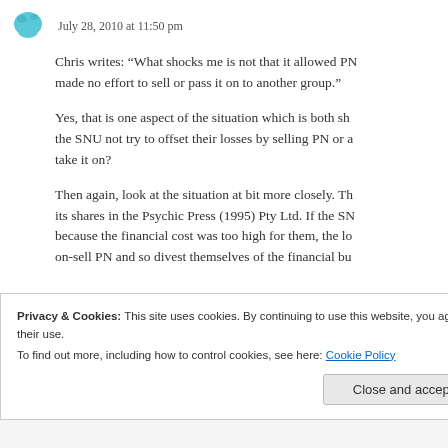July 28, 2010 at 11:50 pm
Chris writes: “What shocks me is not that it allowed PN made no effort to sell or pass it on to another group.”
Yes, that is one aspect of the situation which is both she the SNU not try to offset their losses by selling PN or a take it on?
Then again, look at the situation at bit more closely. Th its shares in the Psychic Press (1995) Pty Ltd. If the SN because the financial cost was too high for them, the lo on-sell PN and so divest themselves of the financial bu
Privacy & Cookies: This site uses cookies. By continuing to use this website, you agree to their use.
To find out more, including how to control cookies, see here: Cookie Policy
Close and accept